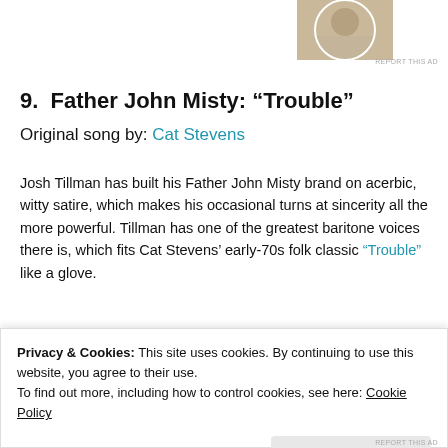[Figure (photo): Partial photo of a person, cropped circular, at top right, above an ad label]
REPORT THIS AD
9.  Father John Misty: “Trouble”
Original song by: Cat Stevens
Josh Tillman has built his Father John Misty brand on acerbic, witty satire, which makes his occasional turns at sincerity all the more powerful. Tillman has one of the greatest baritone voices there is, which fits Cat Stevens’ early-70s folk classic “Trouble” like a glove.
[Figure (screenshot): Dark video bar with teal circular avatar on left]
Privacy & Cookies: This site uses cookies. By continuing to use this website, you agree to their use.
To find out more, including how to control cookies, see here: Cookie Policy
Close and accept
REPORT THIS AD